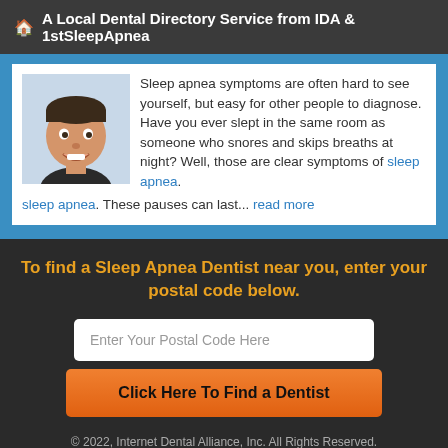🏠 A Local Dental Directory Service from IDA & 1stSleepApnea
[Figure (photo): Smiling man headshot photo]
Sleep apnea symptoms are often hard to see yourself, but easy for other people to diagnose. Have you ever slept in the same room as someone who snores and skips breaths at night? Well, those are clear symptoms of sleep apnea. These pauses can last... read more
To find a Sleep Apnea Dentist near you, enter your postal code below.
Enter Your Postal Code Here
Click Here To Find a Dentist
© 2022, Internet Dental Alliance, Inc. All Rights Reserved.
About Us - Terms of Service Agreement - Privacy Policy -